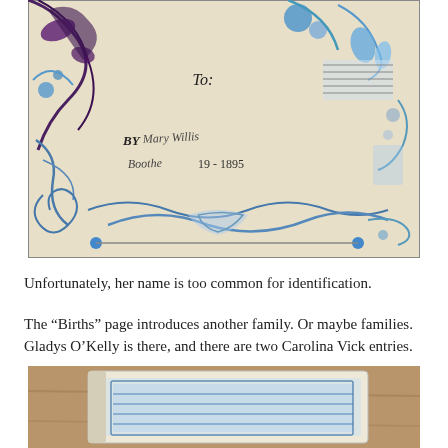[Figure (photo): Photograph of an ornate decorative page (likely a Bible or family record book from the late 1800s) with blue and dark floral scrollwork, featuring handwritten text reading 'To:', 'BY Mary Willis', 'Boothe 19 - 1895' (approximate), on a cream/beige background.]
Unfortunately, her name is too common for identification.
The “Births” page introduces another family. Or maybe families. Gladys O’Kelly is there, and there are two Carolina Vick entries.
[Figure (photo): Photograph of a closed book or Bible with decorative blue patterned cover, viewed from an angle on a wooden surface.]